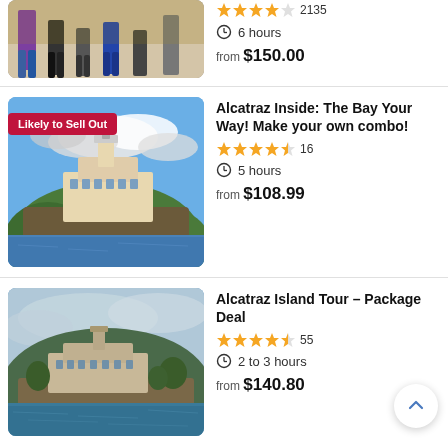[Figure (photo): Partial view of people walking, bottom of first listing]
6 hours
from $150.00
[Figure (photo): Alcatraz island aerial view with blue sky and clouds, showing the prison building on the island surrounded by water]
Alcatraz Inside: The Bay Your Way! Make your own combo!
16
5 hours
from $108.99
[Figure (photo): Alcatraz island viewed from the water, overcast sky, buildings visible on the island]
Alcatraz Island Tour – Package Deal
55
2 to 3 hours
from $140.80